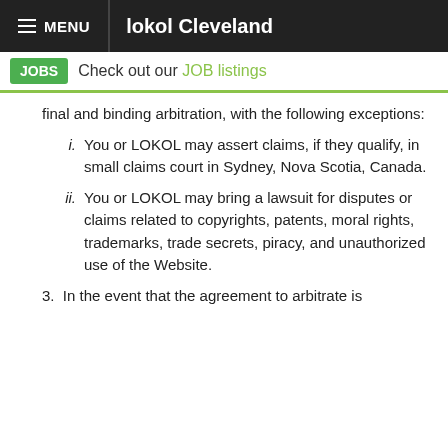≡ MENU   lokol Cleveland
JOBS   Check out our JOB listings
final and binding arbitration, with the following exceptions:
i. You or LOKOL may assert claims, if they qualify, in small claims court in Sydney, Nova Scotia, Canada.
ii. You or LOKOL may bring a lawsuit for disputes or claims related to copyrights, patents, moral rights, trademarks, trade secrets, piracy, and unauthorized use of the Website.
3. In the event that the agreement to arbitrate is